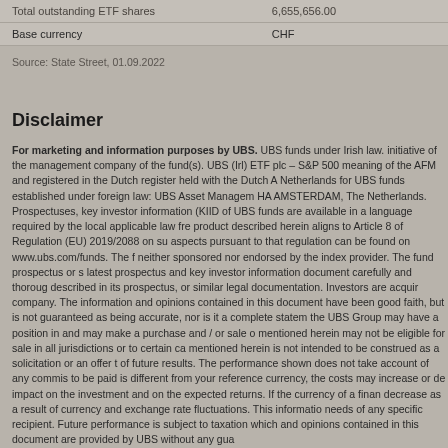| Total outstanding ETF shares | 6,655,656.00 |
| Base currency | CHF |
Source: State Street, 01.09.2022
Disclaimer
For marketing and information purposes by UBS. UBS funds under Irish law. initiative of the management company of the fund(s). UBS (Irl) ETF plc – S&P 500 meaning of the AFM and registered in the Dutch register held with the Dutch A Netherlands for UBS funds established under foreign law: UBS Asset Managem HA AMSTERDAM, The Netherlands. Prospectuses, key investor information (KIID of UBS funds are available in a language required by the local applicable law fre product described herein aligns to Article 8 of Regulation (EU) 2019/2088 on su aspects pursuant to that regulation can be found on www.ubs.com/funds. The f neither sponsored nor endorsed by the index provider. The fund prospectus or s latest prospectus and key investor information document carefully and thoroug described in its prospectus, or similar legal documentation. Investors are acquir company. The information and opinions contained in this document have been good faith, but is not guaranteed as being accurate, nor is it a complete statem the UBS Group may have a position in and may make a purchase and / or sale o mentioned herein may not be eligible for sale in all jurisdictions or to certain ca mentioned herein is not intended to be construed as a solicitation or an offer t of future results. The performance shown does not take account of any commis to be paid is different from your reference currency, the costs may increase or de impact on the investment and on the expected returns. If the currency of a finan decrease as a result of currency and exchange rate fluctuations. This informatio needs of any specific recipient. Future performance is subject to taxation which and opinions contained in this document are provided by UBS without any gua